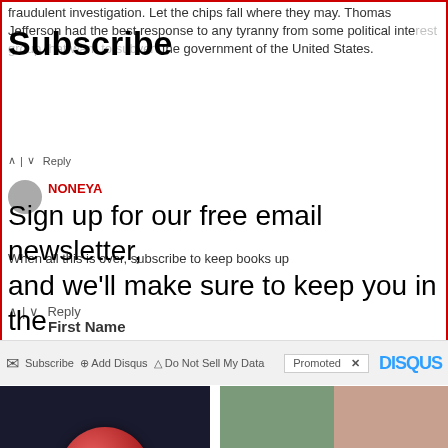fraudulent investigation. Let the chips fall where they may. Thomas Jefferson had the best response to any tyranny from some political interest group that want to subvert the government of the United States.
Subscribe
Sign up for our free email newsletter, and we'll make sure to keep you in the loop.
NONEYA
When all this is over, subscribe to keep books up
First Name
Subscribe | Add Disqus | Do Not Sell My Data | Promoted × DISQUS
[Figure (photo): Close-up photo of a red gummy candy held between fingers against dark background]
[Figure (photo): Two photos of female celebrities side by side]
US Legalizes The "Most Powerful" Relief Gummy & 'Big Pharma' Is Furious
🔥 119
See Why These Celebrities Have Been Banned By Hollywood
🔥 1,423